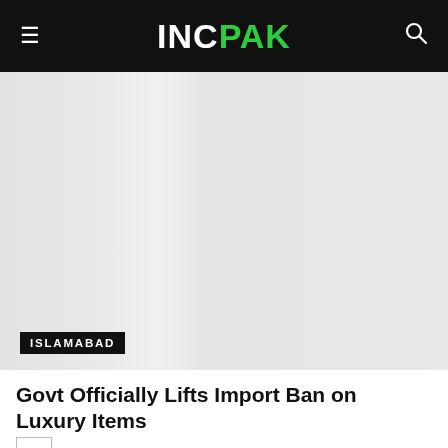INCPAK
[Figure (photo): Light gray placeholder image area representing a news article photo, with a location tag reading ISLAMABAD in the lower left corner.]
ISLAMABAD
Govt Officially Lifts Import Ban on Luxury Items
[Figure (infographic): Advertisement banner: HC logo in yellow square, text 'View store hours, get directions, or call your salon!', blue diamond navigation icon on right.]